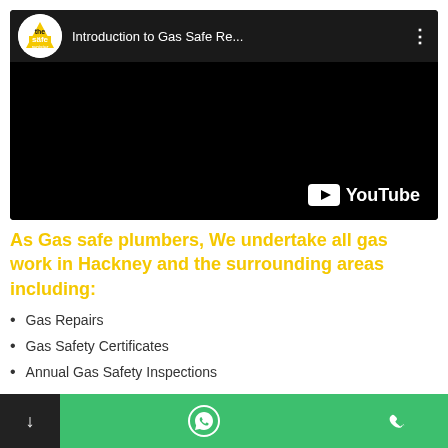[Figure (screenshot): YouTube video thumbnail embed showing 'Introduction to Gas Safe Re...' with Gas Safe Register logo, black video area, and YouTube logo watermark]
As Gas safe plumbers, We undertake all gas work in Hackney and the surrounding areas including:
Gas Repairs
Gas Safety Certificates
Annual Gas Safety Inspections
Bottom navigation bar with down arrow, WhatsApp icon, and phone icon